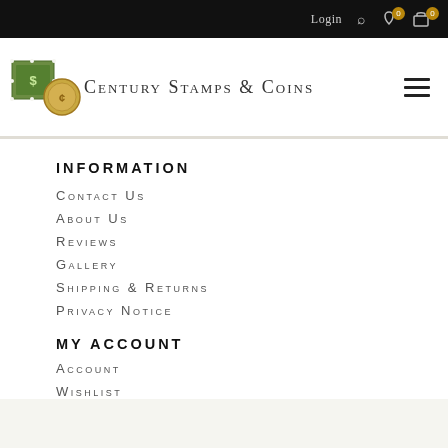Login  0  0
[Figure (logo): Century Stamps & Coins logo with green stamp and gold coin icons]
INFORMATION
CONTACT US
ABOUT US
REVIEWS
GALLERY
SHIPPING & RETURNS
PRIVACY NOTICE
MY ACCOUNT
ACCOUNT
WISHLIST